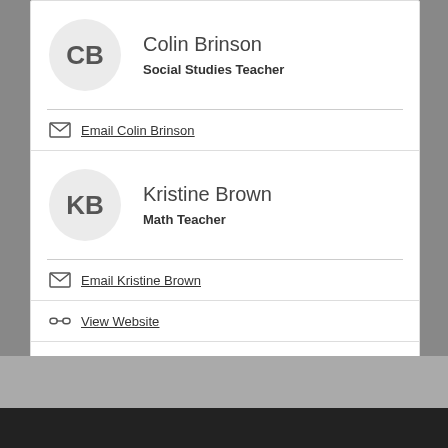[Figure (other): Avatar circle with initials CB for Colin Brinson]
Colin Brinson
Social Studies Teacher
Email Colin Brinson
[Figure (other): Avatar circle with initials KB for Kristine Brown]
Kristine Brown
Math Teacher
Email Kristine Brown
View Website
1  2  3  ...  →